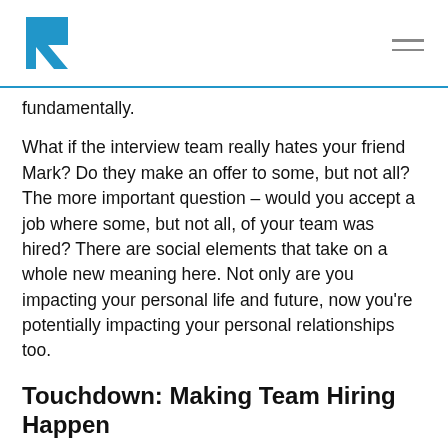R logo and navigation menu
fundamentally.
What if the interview team really hates your friend Mark? Do they make an offer to some, but not all? The more important question – would you accept a job where some, but not all, of your team was hired? There are social elements that take on a whole new meaning here. Not only are you impacting your personal life and future, now you're potentially impacting your personal relationships too.
Touchdown: Making Team Hiring Happen
[Figure (photo): team hiring considerations image]
Interested in team hiring? Here's what